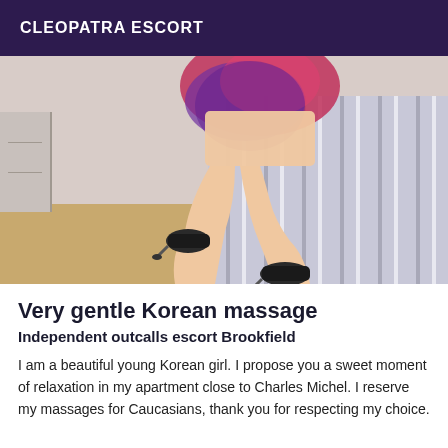CLEOPATRA ESCORT
[Figure (photo): Photo of a woman's legs in high heels seated on a striped bed in a bedroom setting, wearing a colorful pink and purple dress, wood floor visible.]
Very gentle Korean massage
Independent outcalls escort Brookfield
I am a beautiful young Korean girl. I propose you a sweet moment of relaxation in my apartment close to Charles Michel. I reserve my massages for Caucasians, thank you for respecting my choice.